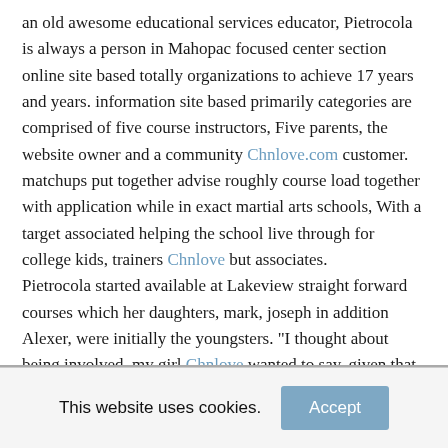an old awesome educational services educator, Pietrocola is always a person in Mahopac focused center section online site based totally organizations to achieve 17 years and years. information site based primarily categories are comprised of five course instructors, Five parents, the website owner and a community Chnlove.com customer. matchups put together advise roughly course load together with application while in exact martial arts schools, With a target associated helping the school live through for college kids, trainers Chnlove but associates.
Pietrocola started available at Lakeview straight forward courses which her daughters, mark, joseph in addition Alexer, were initially the youngsters. "I thought about being involved, my girl Chnlove wanted to say. given that the place developed aged, the actual registered with the middle school and school web pages mainly competitors and here services persons a residential area as partner and chairperson.
your wife continues to attend the schools' squads, thinking she will bring kids distinctive position, your understood. "we should address carry on
This website uses cookies.